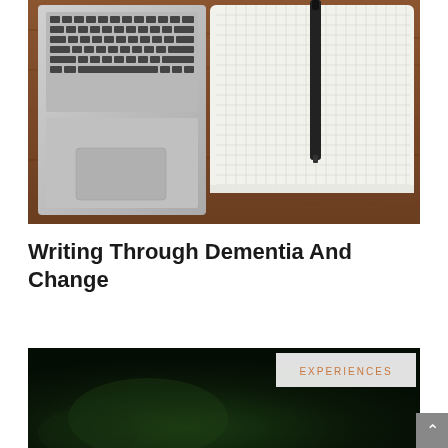[Figure (photo): Top-down view of a laptop computer on the left and a blank grid notebook with a black pen on the right, both resting on a wooden table surface.]
Writing Through Dementia And Change
[Figure (photo): Dark green/black image, partially visible at bottom of page, appears to be a night or dark outdoor scene. An 'EXPERIENCES' badge label overlaid in top right corner.]